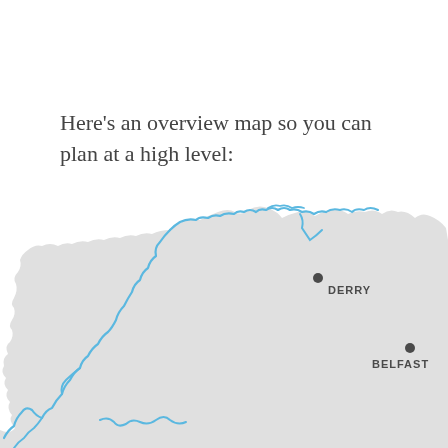Here’s an overview map so you can plan at a high level:
[Figure (map): Overview map of northern Ireland and northwest Ireland showing coastline in blue outline on grey land. Two cities marked: Derry (dot labeled DERRY) in the northwest, and Belfast (dot labeled BELFAST) on the east coast.]